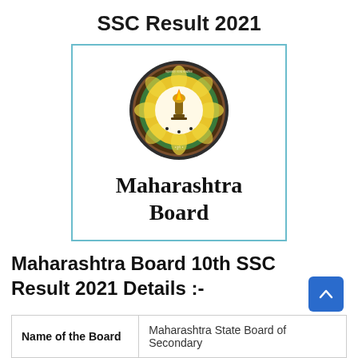SSC Result 2021
[Figure (logo): Maharashtra Board official emblem/seal inside a light-blue bordered box, with circular logo featuring yellow and green design on top, and bold text 'Maharashtra Board' below.]
Maharashtra Board 10th SSC Result 2021 Details :-
| Name of the Board |  |
| --- | --- |
| Name of the Board | Maharashtra State Board of Secondary |